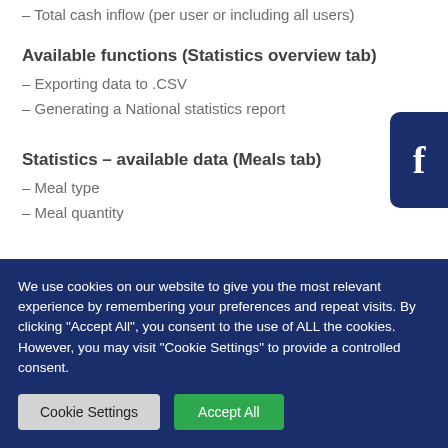– Total cash inflow (per user or including all users)
Available functions (Statistics overview tab)
– Exporting data to .CSV
– Generating a National statistics report
Statistics – available data (Meals tab)
– Meal type
– Meal quantity
[Figure (other): Facebook button icon, rounded rectangle, dark navy blue background with white letter f]
We use cookies on our website to give you the most relevant experience by remembering your preferences and repeat visits. By clicking "Accept All", you consent to the use of ALL the cookies. However, you may visit "Cookie Settings" to provide a controlled consent.
Cookie Settings   Accept All